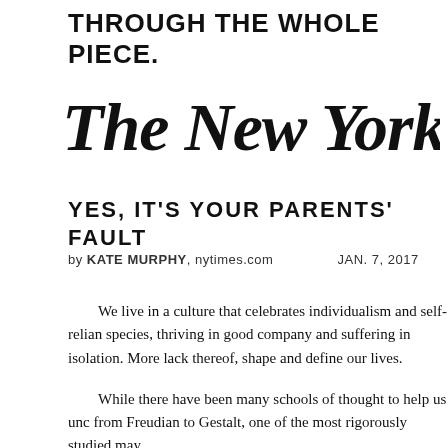THROUGH THE WHOLE PIECE.
[Figure (logo): The New York Times masthead logo in blackletter script]
YES, IT'S YOUR PARENTS' FAULT
by KATE MURPHY, nytimes.com    JAN. 7, 2017
We live in a culture that celebrates individualism and self-relian species, thriving in good company and suffering in isolation. More lack thereof, shape and define our lives.
While there have been many schools of thought to help us unc from Freudian to Gestalt, one of the most rigorously studied may